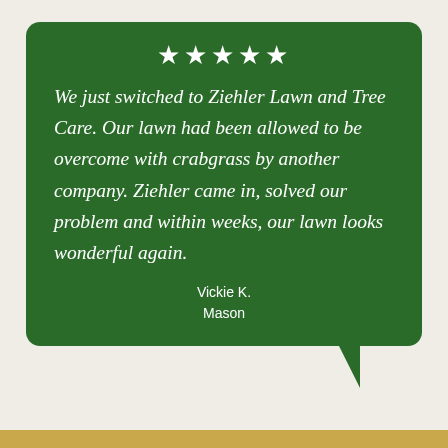[Figure (other): Green speech bubble with five white stars at the top, containing an italic customer review quote from Vickie K., Mason, praising Ziehler Lawn and Tree Care]
We just switched to Ziehler Lawn and Tree Care. Our lawn had been allowed to be overcome with crabgrass by another company. Ziehler came in, solved our problem and within weeks, our lawn looks wonderful again.
Vickie K.
Mason